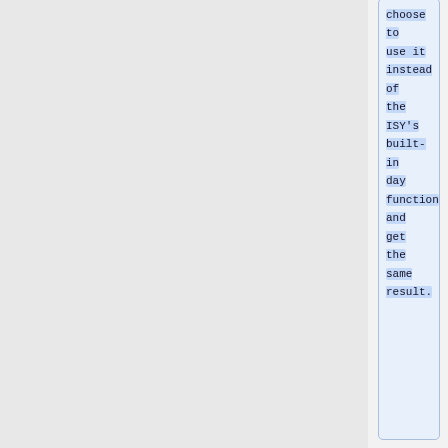choose to use it instead of the ISY's built-in day function and get the same result.
* ''' iMonth''' is simply the current month starting with 1 for Jan.
* ''' iDay.Counter ''' gets one number